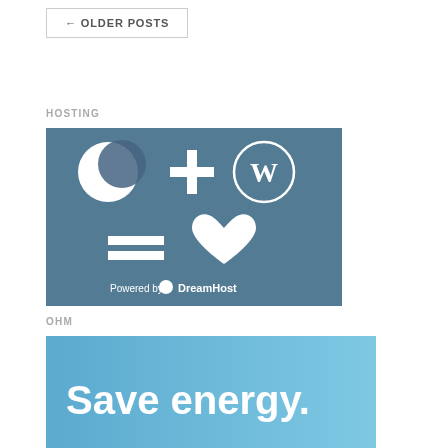← OLDER POSTS
HOSTING
[Figure (illustration): DreamHost hosting promotional image with crescent moon + plus sign + WordPress logo = heart symbols, 'Powered by DreamHost' text overlay on blurred keyboard background]
OHM
[Figure (illustration): Blue banner with white text reading 'Save energy.']